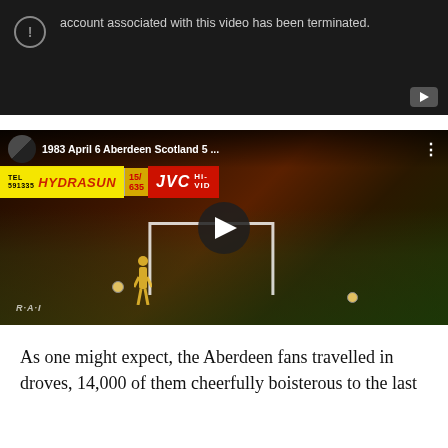[Figure (screenshot): YouTube video embed showing error state: account associated with this video has been terminated. Dark background with play button icon and YouTube logo.]
account associated with this video has been terminated.
[Figure (screenshot): YouTube video embed showing 1983 April 6 Aberdeen Scotland 5 ... with HYDRASUN and JVC sponsor banners visible on a football pitch. Play button overlay in center.]
As one might expect, the Aberdeen fans travelled in droves, 14,000 of them cheerfully boisterous to the last